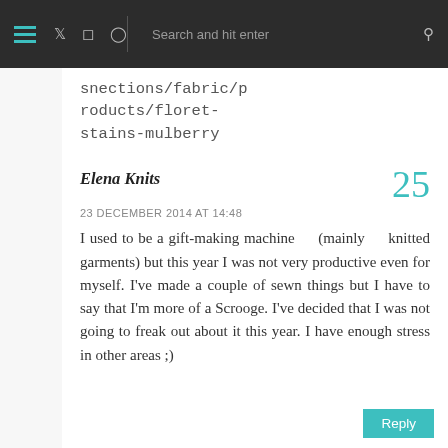Navigation bar with hamburger menu, social icons (Twitter, Instagram, Pinterest), search bar
snections/fabric/products/floret-stains-mulberry
Elena Knits
23 DECEMBER 2014 AT 14:48
I used to be a gift-making machine (mainly knitted garments) but this year I was not very productive even for myself. I've made a couple of sewn things but I have to say that I'm more of a Scrooge. I've decided that I was not going to freak out about it this year. I have enough stress in other areas ;)